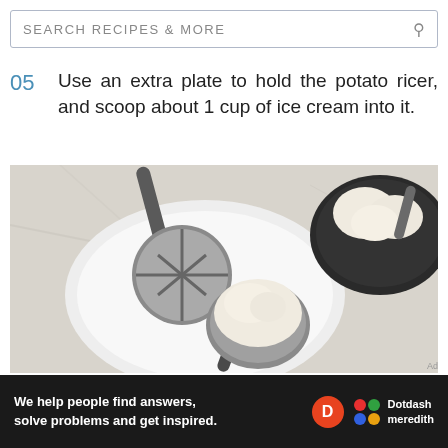SEARCH RECIPES & MORE
05  Use an extra plate to hold the potato ricer, and scoop about 1 cup of ice cream into it.
[Figure (photo): Overhead view of a potato ricer and ice cream scoop with vanilla ice cream on a white plate, and a dark bowl of ice cream with a scoop in the background, on a marble surface.]
Ad
We help people find answers, solve problems and get inspired. Dotdash meredith